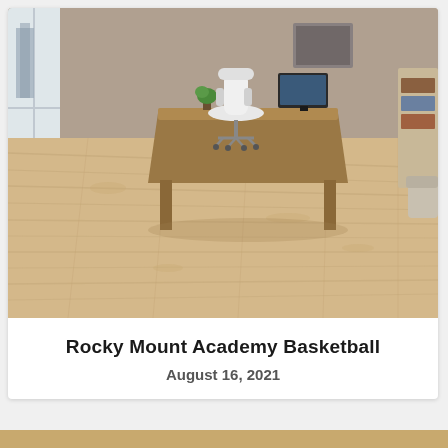[Figure (photo): Interior room with light wood plank flooring, a wooden desk with a white office chair, small plant, monitor, and bookshelf visible in background near large windows.]
Rocky Mount Academy Basketball
August 16, 2021